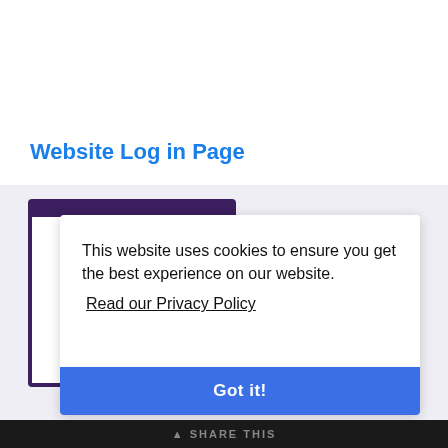Website Log in Page
[Figure (screenshot): A browser window partially visible behind a cookie consent modal overlay. The modal says 'This website uses cookies to ensure you get the best experience on our website.' with a 'Read our Privacy Policy' link and a blue 'Got it!' button. A black bar at the bottom reads 'SHARE THIS'.]